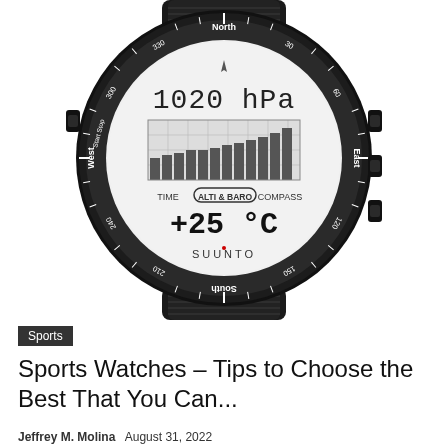[Figure (photo): A black Suunto sports watch with compass bezel showing North/South/East/West markings and degree increments. The watch face displays '1020 hPa', a barometric pressure graph, 'ALTI & BARO' mode indicator, '+25 °C' temperature, and 'SUUNTO' brand name. Navigation options TIME, ALTI & BARO, COMPASS are shown on the watch face.]
Sports
Sports Watches – Tips to Choose the Best That You Can...
Jeffrey M. Molina   August 31, 2022